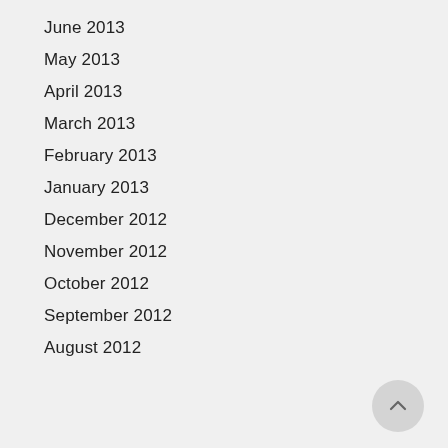June 2013
May 2013
April 2013
March 2013
February 2013
January 2013
December 2012
November 2012
October 2012
September 2012
August 2012